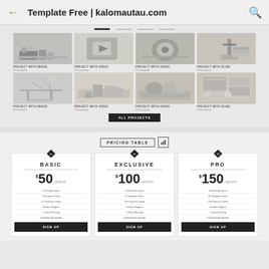Template Free | kalomautau.com
[Figure (screenshot): Portfolio website template showing two rows of four project thumbnails with labels: PROJECT WITH IMAGE, PROJECT WITH VIDEO, PROJECT WITH AUDIO, PROJECT WITH SLIDE (Photography), and an ALL PROJECTS button]
[Figure (screenshot): Pricing table section with three plans: BASIC $50/month, EXCLUSIVE $100/month, PRO $150/month, each with feature lists and SIGN UP buttons]